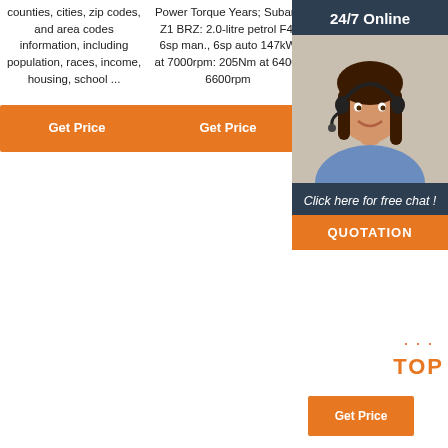counties, cities, zip codes, and area codes information, including population, races, income, housing, school ...
Power Torque Years; Subaru Z1 BRZ: 2.0-litre petrol F4: 6sp man., 6sp auto 147kW at 7000rpm: 205Nm at 6400-6600rpm
opposed (or 'boxer') four-cylinder petrol engine. Effectively replacing the EJ253 eng... member... third 'FB' b... family... include... FA20D... FA20F... FB25... offered in Australia in the 2011 Subaru SH.II Forester.
[Figure (infographic): 24/7 Online chat overlay with woman wearing headset, orange QUOTATION button, and TOP badge with dots]
Get Price (column 1)
Get Price (column 2)
Get Price (column 3)